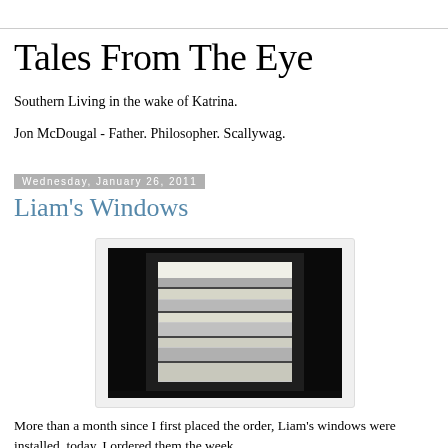Tales From The Eye
Southern Living in the wake of Katrina.
Jon McDougal - Father. Philosopher. Scallywag.
Wednesday, January 26, 2011
Liam's Windows
[Figure (photo): Interior photograph of a window with horizontal blinds/slats, dark room interior with light coming through the window showing foliage outside]
More than a month since I first placed the order, Liam's windows were installed, today. I ordered them the week